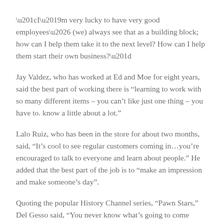“I’m very lucky to have very good employees… (we) always see that as a building block; how can I help them take it to the next level? How can I help them start their own business?”
Jay Valdez, who has worked at Ed and Moe for eight years, said the best part of working there is “learning to work with so many different items – you can’t like just one thing – you have to. know a little about a lot.”
Lalo Ruiz, who has been in the store for about two months, said, “It’s cool to see regular customers coming in…you’re encouraged to talk to everyone and learn about people.” He added that the best part of the job is to “make an impression and make someone’s day”.
Quoting the popular History Channel series, “Pawn Stars,” Del Gesso said, “You never know what’s going to come